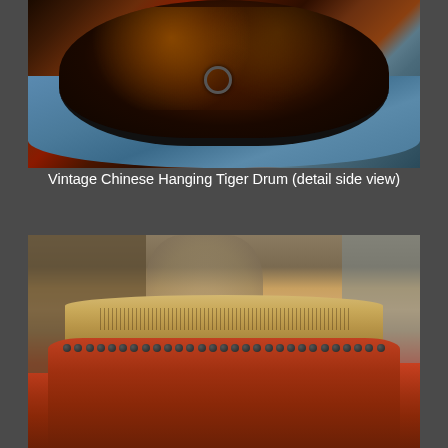[Figure (photo): Close-up detail side view of a vintage Chinese hanging tiger drum. The drum surface shows intricate painted decorations in red, gold, and dark tones with a metal hanging ring. The drum rests on a blue cloth background.]
Vintage Chinese Hanging Tiger Drum (detail side view)
[Figure (photo): A vintage Chinese drum vessel photographed from the side. The drum has a wide tan/cream colored top skin with dark inscriptions or markings, a row of metal studs around the rim, and a red-painted lower body. Background shows blurred antique items and wooden crates.]